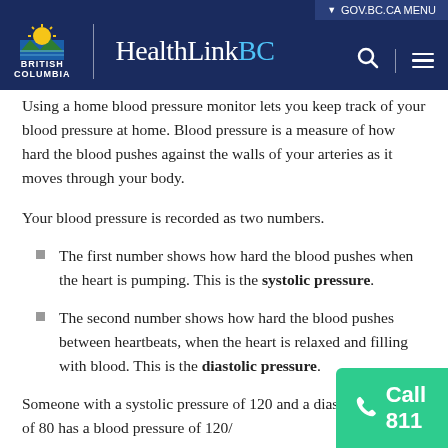GOV.BC.CA MENU | HealthLinkBC
Using a home blood pressure monitor lets you keep track of your blood pressure at home. Blood pressure is a measure of how hard the blood pushes against the walls of your arteries as it moves through your body.
Your blood pressure is recorded as two numbers.
The first number shows how hard the blood pushes when the heart is pumping. This is the systolic pressure.
The second number shows how hard the blood pushes between heartbeats, when the heart is relaxed and filling with blood. This is the diastolic pressure.
Someone with a systolic pressure of 120 and a diastolic pressure of 80 has a blood pressure of 120/80.